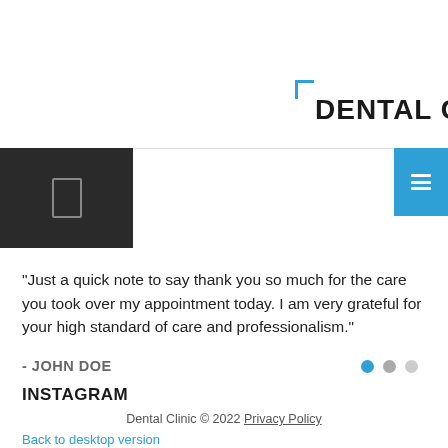DENTAL CLINIC
[Figure (screenshot): Dark navigation bar on left with mobile phone icon, blue button on right with menu icon]
“Just a quick note to say thank you so much for the care you took over my appointment today. I am very grateful for your high standard of care and professionalism.”
- JOHN DOE
INSTAGRAM
Dental Clinic © 2022 Privacy Policy
Back to desktop version